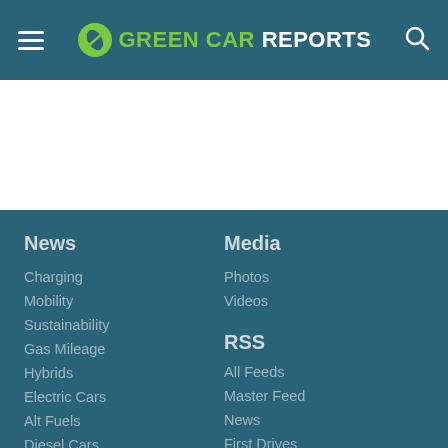Green Car Reports
[Figure (screenshot): White content area placeholder]
News
Charging
Mobility
Sustainability
Gas Mileage
Hybrids
Electric Cars
Alt Fuels
Diesel Cars
Media
Photos
Videos
RSS
All Feeds
Master Feed
News
First Drives